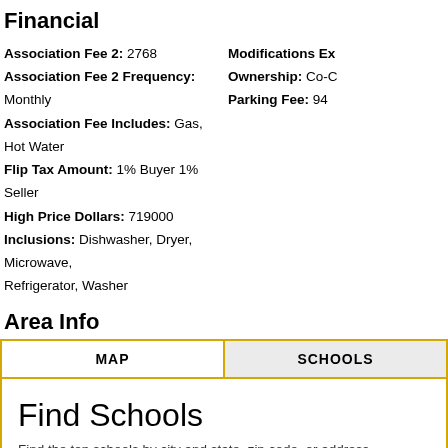Financial
Association Fee 2: 2768
Association Fee 2 Frequency: Monthly
Association Fee Includes: Gas, Hot Water
Flip Tax Amount: 1% Buyer 1% Seller
High Price Dollars: 719000
Inclusions: Dishwasher, Dryer, Microwave, Refrigerator, Washer
Modifications Ex...
Ownership: Co-C...
Parking Fee: 94
Area Info
| MAP | SCHOOLS |
| --- | --- |
Find Schools
Find the top schools by city and state, zip code, or address
11005